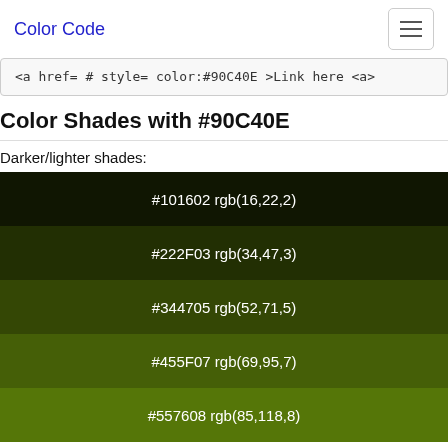Color Code
<a href='#' style='color:#90C40E'>Link here</a>
Color Shades with #90C40E
Darker/lighter shades:
| Color | Code |
| --- | --- |
| #101602 | rgb(16,22,2) |
| #222F03 | rgb(34,47,3) |
| #344705 | rgb(52,71,5) |
| #455F07 | rgb(69,95,7) |
| #557608 | rgb(85,118,8) |